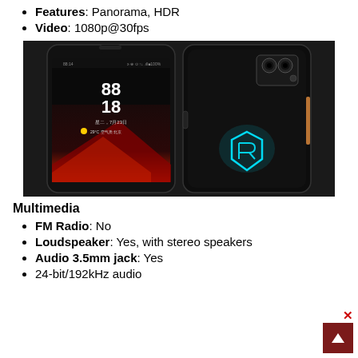Features: Panorama, HDR
Video: 1080p@30fps
[Figure (photo): ASUS ROG Phone II shown from front and back. Front shows the phone's display with a clock (88:18) and weather info. Back shows the dual camera module and glowing ROG logo in cyan/teal color, with a distinctive gaming design featuring copper/gold accents.]
Multimedia
FM Radio: No
Loudspeaker: Yes, with stereo speakers
Audio 3.5mm jack: Yes
24-bit/192kHz audio